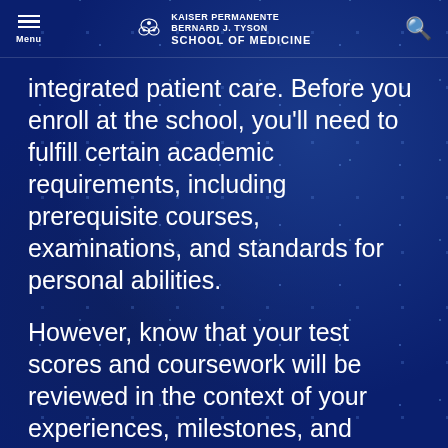Menu | KAISER PERMANENTE BERNARD J. TYSON SCHOOL OF MEDICINE
integrated patient care. Before you enroll at the school, you'll need to fulfill certain academic requirements, including prerequisite courses, examinations, and standards for personal abilities.
However, know that your test scores and coursework will be reviewed in the context of your experiences, milestones, and personal attributes. We believe this holistic review